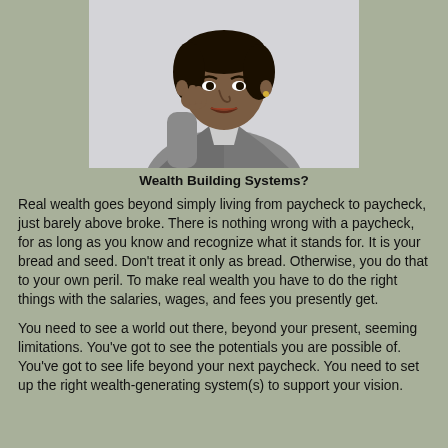[Figure (photo): A woman in a grey blazer resting her chin on her hand in a thoughtful pose, looking upward, against a light grey background.]
Wealth Building Systems?
Real wealth goes beyond simply living from paycheck to paycheck, just barely above broke. There is nothing wrong with a paycheck, for as long as you know and recognize what it stands for. It is your bread and seed. Don't treat it only as bread. Otherwise, you do that to your own peril. To make real wealth you have to do the right things with the salaries, wages, and fees you presently get.
You need to see a world out there, beyond your present, seeming limitations. You've got to see the potentials you are possible of. You've got to see life beyond your next paycheck. You need to set up the right wealth-generating system(s) to support your vision.